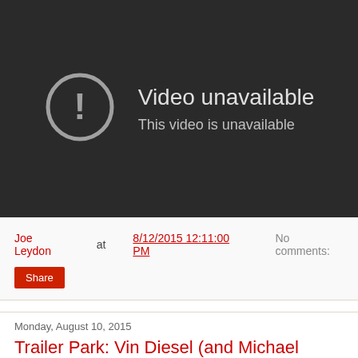[Figure (screenshot): YouTube video unavailable placeholder: dark background with a circular exclamation mark icon and text 'Video unavailable / This video is unavailable']
Joe Leydon at 8/12/2015 12:11:00 PM    No comments:
Share
Monday, August 10, 2015
Trailer Park: Vin Diesel (and Michael Caine) in The Last Witch H...